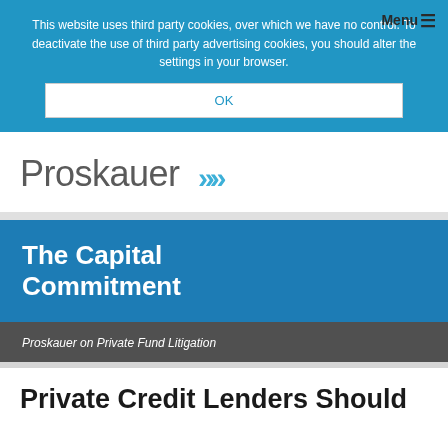This website uses third party cookies, over which we have no control. To deactivate the use of third party advertising cookies, you should alter the settings in your browser.
OK
[Figure (logo): Proskauer logo with two right-pointing chevrons in blue]
The Capital Commitment
Proskauer on Private Fund Litigation
Private Credit Lenders Should